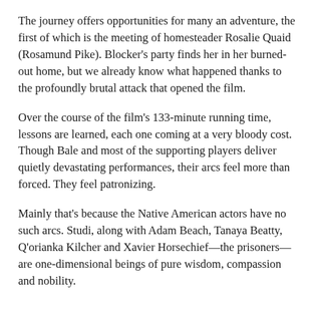The journey offers opportunities for many an adventure, the first of which is the meeting of homesteader Rosalie Quaid (Rosamund Pike). Blocker's party finds her in her burned-out home, but we already know what happened thanks to the profoundly brutal attack that opened the film.
Over the course of the film's 133-minute running time, lessons are learned, each one coming at a very bloody cost. Though Bale and most of the supporting players deliver quietly devastating performances, their arcs feel more than forced. They feel patronizing.
Mainly that's because the Native American actors have no such arcs. Studi, along with Adam Beach, Tanaya Beatty, Q'orianka Kilcher and Xavier Horsechief—the prisoners—are one-dimensional beings of pure wisdom, compassion and nobility.